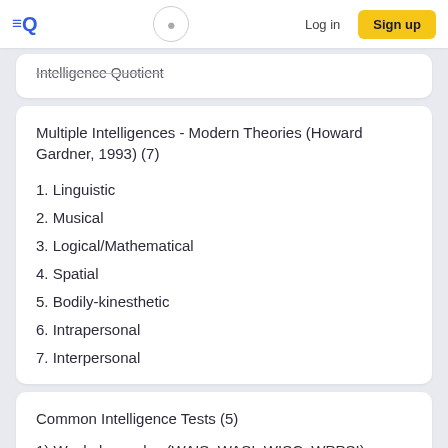≡Q  [search]  Log in  Sign up
Intelligence Quotient
Multiple Intelligences - Modern Theories (Howard Gardner, 1993) (7)
1. Linguistic
2. Musical
3. Logical/Mathematical
4. Spatial
5. Bodily-kinesthetic
6. Intrapersonal
7. Interpersonal
Common Intelligence Tests (5)
1) Wechsler scales (WAIS, WASI, WISC, WPPSI)